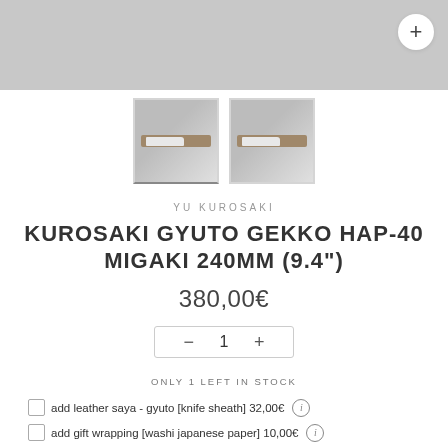[Figure (photo): Top banner area showing a Japanese knife on gray background with a white plus button in the top right corner. Two thumbnail images below showing the knife from different angles.]
YU KUROSAKI
KUROSAKI GYUTO GEKKO HAP-40 MIGAKI 240MM (9.4")
380,00€
1
ONLY 1 LEFT IN STOCK
add leather saya - gyuto [knife sheath] 32,00€
add gift wrapping [washi japanese paper] 10,00€